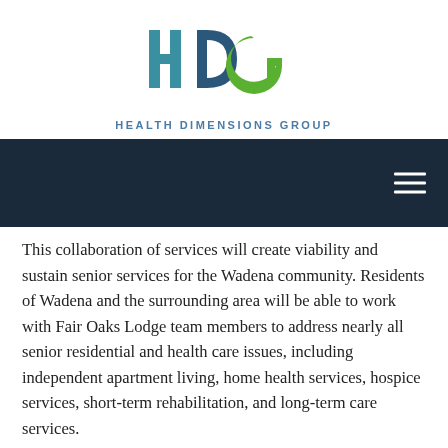[Figure (logo): Health Dimensions Group logo with HDG letters in teal/green and company name below]
[Figure (screenshot): Dark navy navigation bar with hamburger menu icon on the right]
This collaboration of services will create viability and sustain senior services for the Wadena community. Residents of Wadena and the surrounding area will be able to work with Fair Oaks Lodge team members to address nearly all senior residential and health care issues, including independent apartment living, home health services, hospice services, short-term rehabilitation, and long-term care services.
“For more than 50 years, Fair Oaks Lodge has provided a full spectrum of health care services to